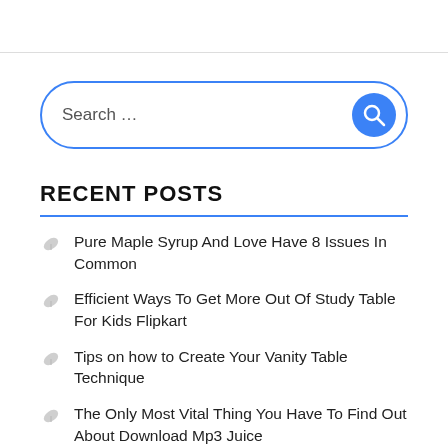[Figure (screenshot): Search bar with blue border and blue search button icon]
RECENT POSTS
Pure Maple Syrup And Love Have 8 Issues In Common
Efficient Ways To Get More Out Of Study Table For Kids Flipkart
Tips on how to Create Your Vanity Table Technique
The Only Most Vital Thing You Have To Find Out About Download Mp3 Juice
Strive These Tricks To Streamline Your Telugu News Crime